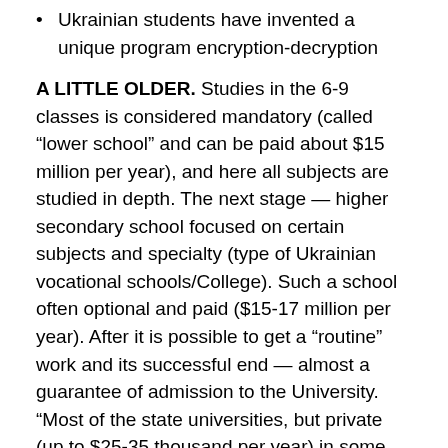Ukrainian students have invented a unique program encryption-decryption
A LITTLE OLDER. Studies in the 6-9 classes is considered mandatory (called “lower school” and can be paid about $15 million per year), and here all subjects are studied in depth. The next stage — higher secondary school focused on certain subjects and specialty (type of Ukrainian vocational schools/College). Such a school often optional and paid ($15-17 million per year). After it is possible to get a “routine” work and its successful end — almost a guarantee of admission to the University. “Most of the state universities, but private (up to $25-35 thousand per year) in some degree popular. They offer specialty, which on completion will provide a prestigious and high-paying jobs: hospitality, business management, engineering, medicine. High competition in universities this offer the highest program. So the highest programs